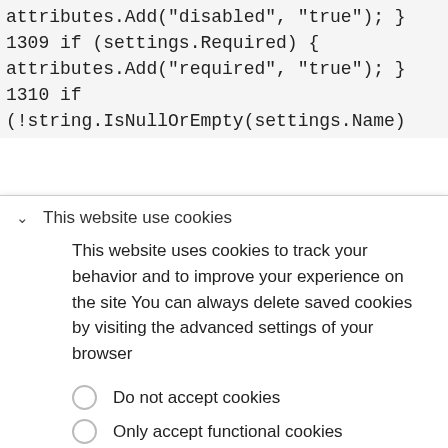attributes.Add("disabled", "true"); }
1309 if (settings.Required) {
attributes.Add("required", "true"); }
1310 if
(!string.IsNullOrEmpty(settings.Name)
This website use cookies
This website uses cookies to track your behavior and to improve your experience on the site You can always delete saved cookies by visiting the advanced settings of your browser
Do not accept cookies
Only accept functional cookies
Accept all cookies